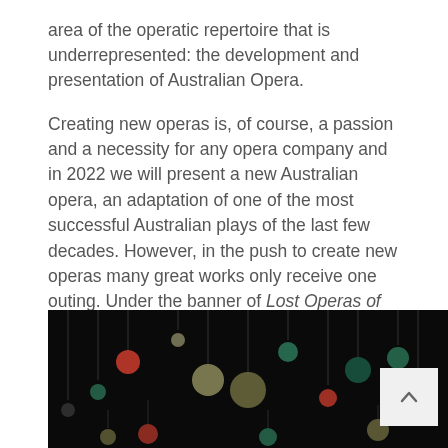area of the operatic repertoire that is underrepresented: the development and presentation of Australian Opera.
Creating new operas is, of course, a passion and a necessity for any opera company and in 2022 we will present a new Australian opera, an adaptation of one of the most successful Australian plays of the last few decades. However, in the push to create new operas many great works only receive one outing. Under the banner of Lost Operas of Oz State Opera has therefore committed to producing little known Australian operas, operas that deserve an audience. We believe it is important we embrace the great breadth of Australian work out there, and in our little corner of the world especially.
[Figure (photo): Dark background photo showing decorative spherical ornaments or balls hanging, in various colors including red, green, teal, and cream/white, on thin stems or wires against a black background. A light grey scroll-to-top button with an upward chevron arrow is overlaid in the bottom-right corner.]